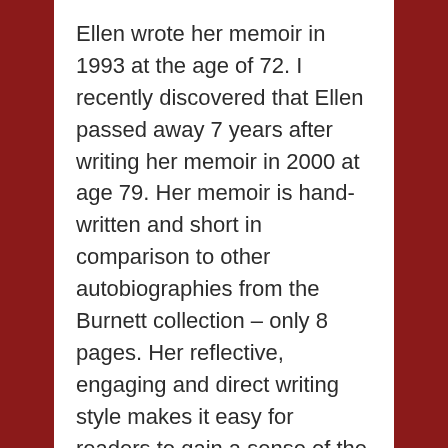Ellen wrote her memoir in 1993 at the age of 72. I recently discovered that Ellen passed away 7 years after writing her memoir in 2000 at age 79. Her memoir is hand-written and short in comparison to other autobiographies from the Burnett collection – only 8 pages. Her reflective, engaging and direct writing style makes it easy for readers to gain a sense of the person Ellen was and the life she led.
Ellen addresses herself to the themes of the family home, art and crafts, labour and the life of a young